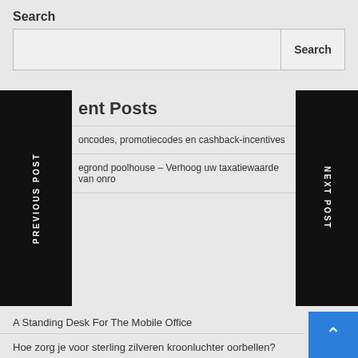Search
Search input and button
ent Posts
oncodes, promotiecodes en cashback-incentives
egrond poolhouse – Verhoog uw taxatiewaarde van onro
PREVIOUS POST
NEXT POST
A Standing Desk For The Mobile Office
Hoe zorg je voor sterling zilveren kroonluchter oorbellen?
hojoro